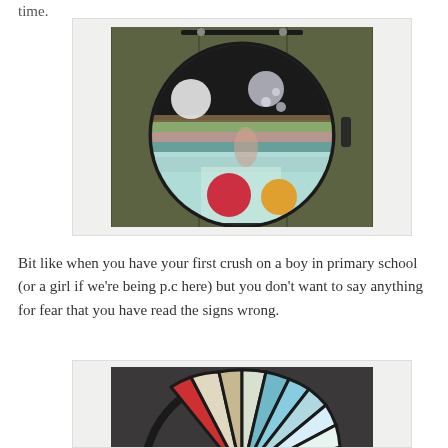time.
[Figure (photo): A circular textile quilt artwork hanging on a wooden fence/shed door. The circular piece features patchwork fabric in various patterns including black and white, grey tones at the top, colourful fabric strips in the middle, and light blue/green fabric at the bottom with circular applique elements in red and orange.]
Bit like when you have your first crush on a boy in primary school (or a girl if we're being p.c here) but you don't want to say anything for fear that you have read the signs wrong.
[Figure (photo): A semi-circular textile artwork showing the top half of a wheel/dartboard-like design with dark black segments separating coloured fabric panels in various textures including blue, teal, cream and red tones.]